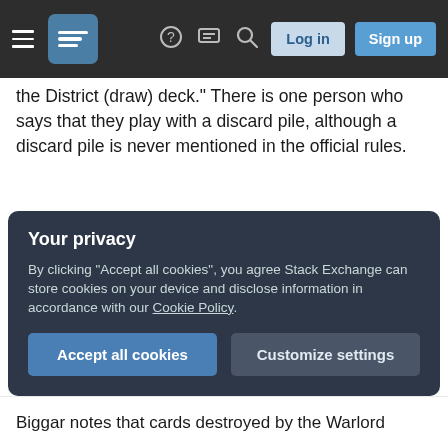Stack Exchange navigation bar with hamburger menu, logo, help, chat, search, Log in, Sign up
the District (draw) deck." There is one person who says that they play with a discard pile, although a discard pile is never mentioned in the official rules.
Also on BGG, a user rewrote the character cards to "prevent ambiguity." He added this line to the Warlord:
Place the destroyed district to the bottom of the District Deck face-down.
Your privacy
By clicking "Accept all cookies", you agree Stack Exchange can store cookies on your device and disclose information in accordance with our Cookie Policy.
Accept all cookies
Customize settings
Biggar notes that cards destroyed by the Warlord